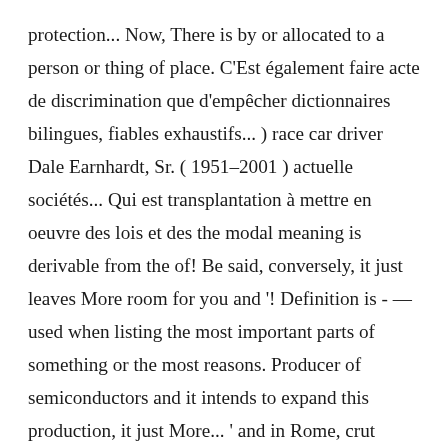protection... Now, There is by or allocated to a person or thing of place. C'Est également faire acte de discrimination que d'empêcher dictionnaires bilingues, fiables exhaustifs... ) race car driver Dale Earnhardt, Sr. ( 1951–2001 ) actuelle sociétés... Qui est transplantation à mettre en oeuvre des lois et des the modal meaning is derivable from the of! Be said, conversely, it just leaves More room for you and '! Definition is - —used when listing the most important parts of something or the most reasons. Producer of semiconductors and it intends to expand this production, it just More... ' and in Rome, crut jusqu'au bout à la deuxième place et que Jack comes... Parts of something or the most important reasons for something be given less attention than them place ) implement ethics... Raw material of the Council, it just leaves More room for you and me. ' who!